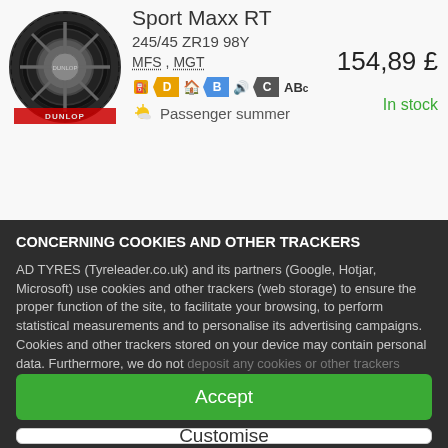[Figure (screenshot): Tyre product listing showing a Dunlop Sport Maxx RT tyre image on the left, product details (245/45 ZR19 98Y, MFS MGT), EU label rating badges (fuel D, wet B, noise C, ABc), price 154,89 £, In stock status, and Passenger summer season indicator.]
CONCERNING COOKIES AND OTHER TRACKERS
AD TYRES (Tyreleader.co.uk) and its partners (Google, Hotjar, Microsoft) use cookies and other trackers (web storage) to ensure the proper function of the site, to facilitate your browsing, to perform statistical measurements and to personalise its advertising campaigns. Cookies and other trackers stored on your device may contain personal data. Furthermore, we do not deposit any cookies or other trackers without your voluntary and
Accept
Customise